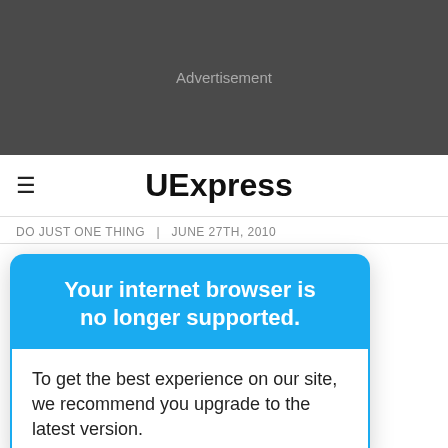[Figure (other): Dark grey advertisement banner placeholder with 'Advertisement' text]
UExpress
DO JUST ONE THING  |  JUNE 27TH, 2010
Your internet browser is no longer supported.
To get the best experience on our site, we recommend you upgrade to the latest version.
op-off donation ing lots. Yes, the clothes dropped in those bins are collected and